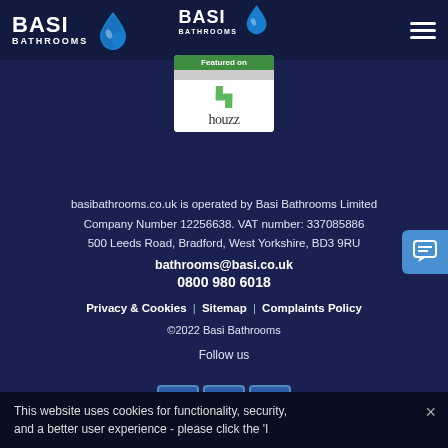[Figure (logo): Basi Bathrooms logo with water drop - left header]
[Figure (logo): Basi Bathrooms logo with water drop - center header]
[Figure (logo): Houzz 'Featured on' badge]
basibathrooms.co.uk is operated by Basi Bathrooms Limited Company Number 12256638. VAT number: 337085886 500 Leeds Road, Bradford, West Yorkshire, BD3 9RU
bathrooms@basi.co.uk
0800 980 6018
Privacy & Cookies | Sitemap | Complaints Policy
©2022 Basi Bathrooms
Follow us
[Figure (illustration): Social media icons: Facebook, Twitter, Pinterest]
This website uses cookies for functionality, security, and a better user experience - please click the 'I